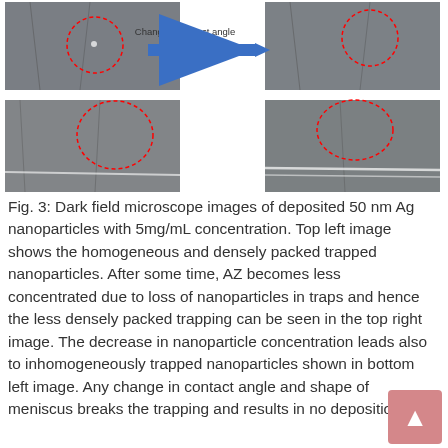[Figure (photo): Four dark field microscope images of deposited 50 nm Ag nanoparticles arranged in a 2x2 grid with a blue arrow labeled 'Change of contact angle' pointing from left to right between the top-left and top-right images. Each image shows a surface with red dashed circle annotations highlighting nanoparticle trapping regions.]
Fig. 3: Dark field microscope images of deposited 50 nm Ag nanoparticles with 5mg/mL concentration. Top left image shows the homogeneous and densely packed trapped nanoparticles. After some time, AZ becomes less concentrated due to loss of nanoparticles in traps and hence the less densely packed trapping can be seen in the top right image. The decrease in nanoparticle concentration leads also to inhomogeneously trapped nanoparticles shown in bottom left image. Any change in contact angle and shape of meniscus breaks the trapping and results in no deposition of